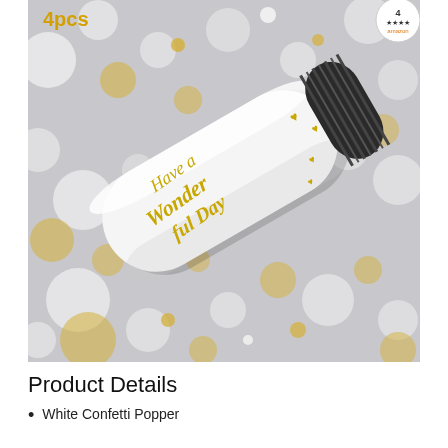[Figure (photo): A white confetti popper tube with gold cursive text reading 'Have a Wonderful Day', decorated with gold heart cutouts near the black ribbed base. The popper is lying diagonally on a blurred gray background scattered with gold and white circle confetti pieces. A '4pcs' label is visible in the upper left corner and an Amazon logo badge in the upper right.]
Product Details
White Confetti Popper